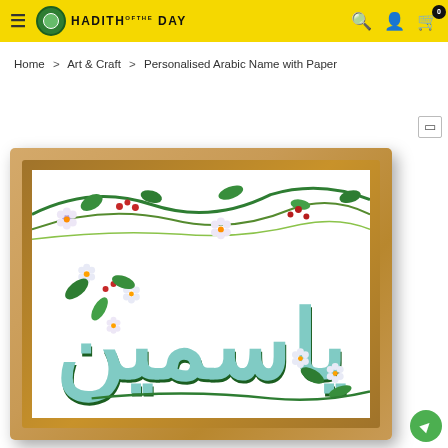HADITH OF THE DAY
Home > Art & Craft > Personalised Arabic Name with Paper
[Figure (photo): A wooden-framed art piece showing Arabic calligraphy spelling 'Yasmin' in teal/green, decorated with hand-drawn green vines, leaves, and small white and purple flowers with red berries]